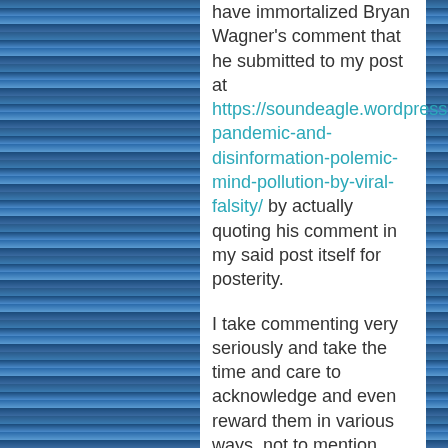have immortalized Bryan Wagner's comment that he submitted to my post at https://soundeagle.wordpress.com/2020/12/19/misquotation-pandemic-and-disinformation-polemic-mind-pollution-by-viral-falsity/ by actually quoting his comment in my said post itself for posterity.
I take commenting very seriously and take the time and care to acknowledge and even reward them in various ways, not to mention going to the length of creating bespoke and specially designed comments in replying to